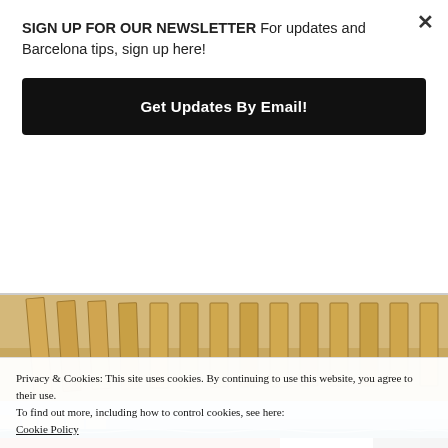SIGN UP FOR OUR NEWSLETTER For updates and Barcelona tips, sign up here!
Get Updates By Email!
[Figure (photo): Close-up photo of a sandy beach with wooden fence/reed barrier panels in the background]
[Figure (photo): Panoramic photo of a Barcelona beach with buildings along the coastline and blue sea with waves]
Privacy & Cookies: This site uses cookies. By continuing to use this website, you agree to their use.
To find out more, including how to control cookies, see here:
Cookie Policy
Close and accept